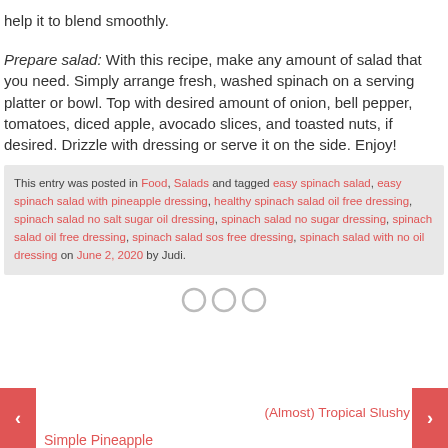help it to blend smoothly.
Prepare salad: With this recipe, make any amount of salad that you need. Simply arrange fresh, washed spinach on a serving platter or bowl. Top with desired amount of onion, bell pepper, tomatoes, diced apple, avocado slices, and toasted nuts, if desired. Drizzle with dressing or serve it on the side. Enjoy!
This entry was posted in Food, Salads and tagged easy spinach salad, easy spinach salad with pineapple dressing, healthy spinach salad oil free dressing, spinach salad no salt sugar oil dressing, spinach salad no sugar dressing, spinach salad oil free dressing, spinach salad sos free dressing, spinach salad with no oil dressing on June 2, 2020 by Judi.
Simple Pineapple
(Almost) Tropical Slushy